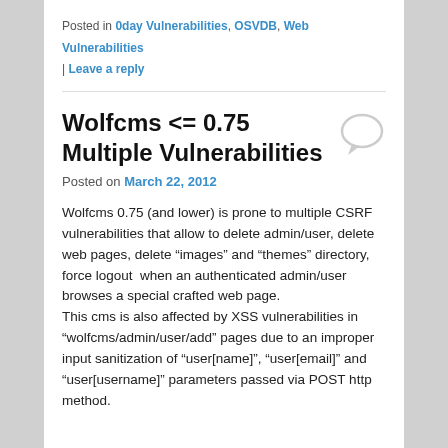Posted in 0day Vulnerabilities, OSVDB, Web Vulnerabilities | Leave a reply
Wolfcms <= 0.75 Multiple Vulnerabilities
Posted on March 22, 2012
Wolfcms 0.75 (and lower) is prone to multiple CSRF vulnerabilities that allow to delete admin/user, delete web pages, delete “images” and “themes” directory, force logout  when an authenticated admin/user browses a special crafted web page.
This cms is also affected by XSS vulnerabilities in “wolfcms/admin/user/add” pages due to an improper input sanitization of “user[name]”, “user[email]” and “user[username]” parameters passed via POST http method.